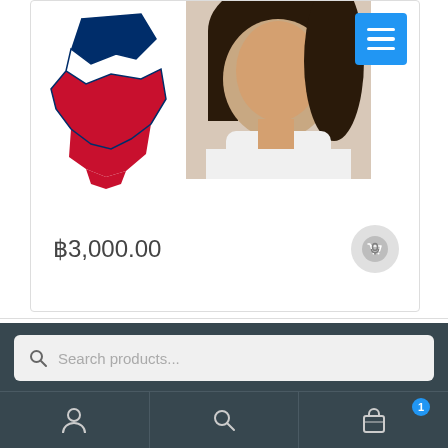[Figure (screenshot): Product card showing a Costa Rica flag map illustration on the left, a woman in a white top photo on the right, a blue hamburger menu button in top-right, price ฿3,000.00 at the bottom-left, and a gray cart icon button at the bottom-right]
฿3,000.00
[Figure (screenshot): Light blue scroll-to-top button with upward chevron arrow]
[Figure (screenshot): Dark navigation bar with search bar and three bottom nav icons: user, search, and shopping bag with badge showing 1]